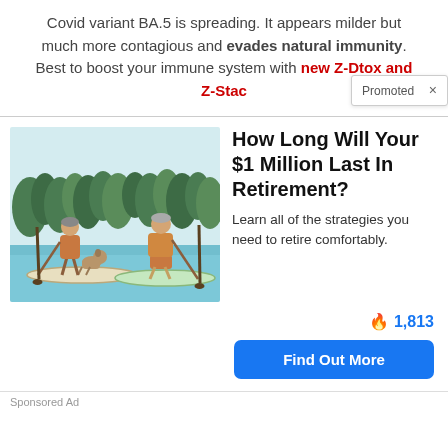Covid variant BA.5 is spreading. It appears milder but much more contagious and evades natural immunity. Best to boost your immune system with new Z-Dtox and Z-Stack
[Figure (illustration): Two people paddleboarding on a lake with a dog, illustrated in a sketchy style with trees in the background. Both wearing orange life vests.]
How Long Will Your $1 Million Last In Retirement?
Learn all of the strategies you need to retire comfortably.
🔥 1,813
Find Out More
Sponsored Ad